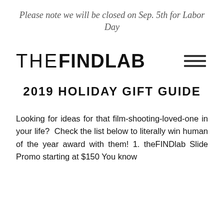Please note we will be closed on Sep. 5th for Labor Day
THE FIND LAB
2019 HOLIDAY GIFT GUIDE
Looking for ideas for that film-shooting-loved-one in your life? Check the list below to literally win human of the year award with them! 1. theFINDlab Slide Promo starting at $150 You know